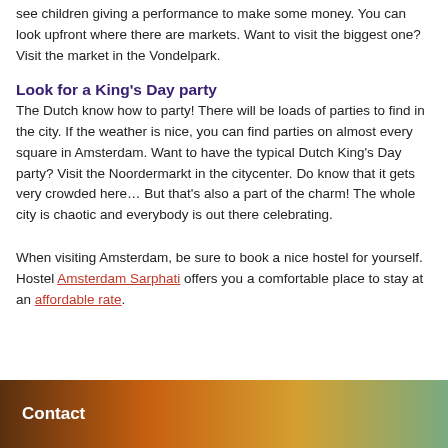see children giving a performance to make some money. You can look upfront where there are markets. Want to visit the biggest one? Visit the market in the Vondelpark.
Look for a King's Day party
The Dutch know how to party! There will be loads of parties to find in the city. If the weather is nice, you can find parties on almost every square in Amsterdam. Want to have the typical Dutch King's Day party? Visit the Noordermarkt in the citycenter. Do know that it gets very crowded here… But that's also a part of the charm! The whole city is chaotic and everybody is out there celebrating.
When visiting Amsterdam, be sure to book a nice hostel for yourself. Hostel Amsterdam Sarphati offers you a comfortable place to stay at an affordable rate.
Contact